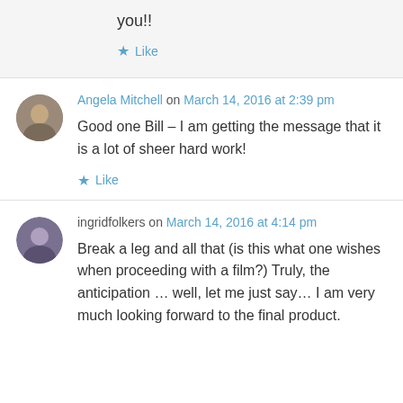you!!
Like
Angela Mitchell on March 14, 2016 at 2:39 pm
Good one Bill – I am getting the message that it is a lot of sheer hard work!
Like
ingridfolkers on March 14, 2016 at 4:14 pm
Break a leg and all that (is this what one wishes when proceeding with a film?) Truly, the anticipation … well, let me just say… I am very much looking forward to the final product.